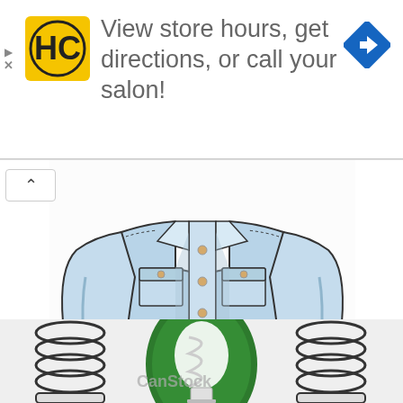[Figure (screenshot): Advertisement banner with HC (Hair Club) yellow square logo on left, text 'View store hours, get directions, or call your salon!' in grey, blue diamond navigation icon on right, and small ad controls (play triangle and X) on left edge]
[Figure (illustration): Hand-drawn illustration/sketch of a light blue denim jacket with buttons, breast pockets, side pockets and stitching details]
Drawn jeans
[Figure (illustration): Partial illustration of energy-saving light bulb(s) in green oval with white spiral bulb, flanked by coiled spring/hands illustrations, with watermark 'CanStock' visible]